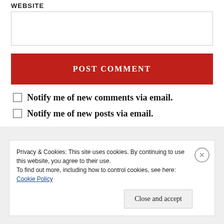WEBSITE
[Figure (screenshot): Text input box (website field)]
POST COMMENT
Notify me of new comments via email.
Notify me of new posts via email.
Privacy & Cookies: This site uses cookies. By continuing to use this website, you agree to their use. To find out more, including how to control cookies, see here: Cookie Policy
Close and accept